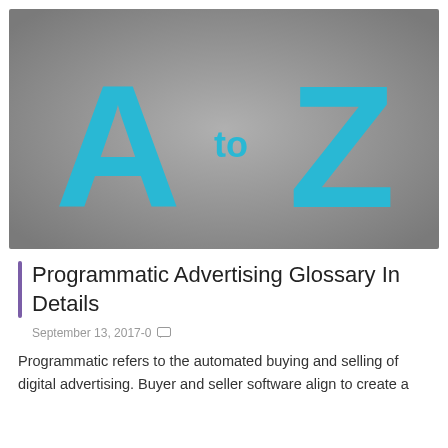[Figure (logo): A to Z logo on a gray gradient background. Large cyan/turquoise letters 'A' and 'Z' with smaller 'to' text between them, center-aligned on a gray background.]
Programmatic Advertising Glossary In Details
September 13, 2017-0
Programmatic refers to the automated buying and selling of digital advertising. Buyer and seller software align to create a...